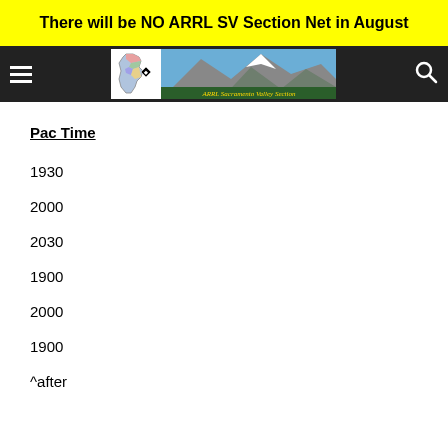There will be NO ARRL SV Section Net in August
[Figure (logo): ARRL Sacramento Valley Section navigation bar with hamburger menu, logo with California state map and diamond, mountain landscape banner, and search icon]
Pac Time
1930
2000
2030
1900
2000
1900
^after